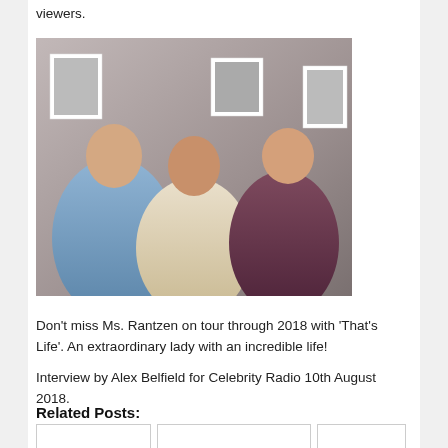viewers.
[Figure (photo): Three people posing together indoors in front of framed pictures on a wall. A man on the left in a blue shirt, a woman in the center in a cream top, and a woman on the right in a dark burgundy top.]
Don't miss Ms. Rantzen on tour through 2018 with 'That's Life'. An extraordinary lady with an incredible life!
Interview by Alex Belfield for Celebrity Radio 10th August 2018.
Related Posts: